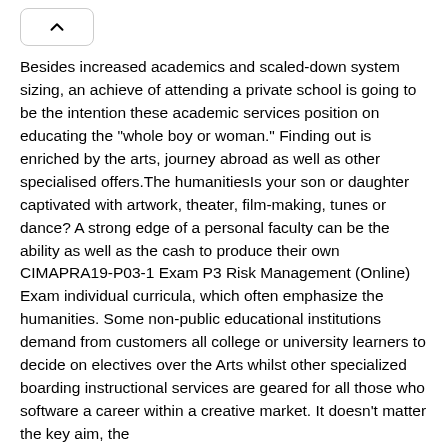Besides increased academics and scaled-down system sizing, an achieve of attending a private school is going to be the intention these academic services position on educating the "whole boy or woman." Finding out is enriched by the arts, journey abroad as well as other specialised offers.The humanitiesIs your son or daughter captivated with artwork, theater, film-making, tunes or dance? A strong edge of a personal faculty can be the ability as well as the cash to produce their own CIMAPRA19-P03-1 Exam P3 Risk Management (Online) Exam individual curricula, which often emphasize the humanities. Some non-public educational institutions demand from customers all college or university learners to decide on electives over the Arts whilst other specialized boarding instructional services are geared for all those who software a career within a creative market. It doesn't matter the key aim, the